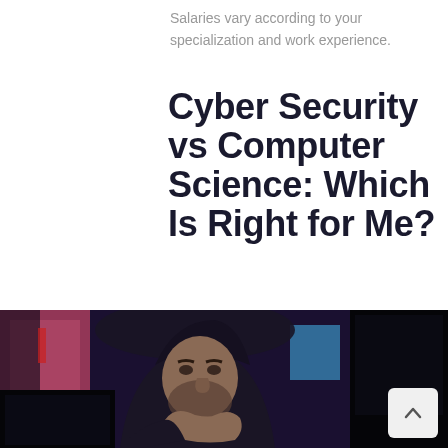Salaries vary according to your specialization and work experience.
Cyber Security vs Computer Science: Which Is Right for Me?
[Figure (photo): A man wearing a dark hoodie sitting in a gaming chair in front of a computer monitor, with a thoughtful/serious expression, resting his chin on his hand. Background shows colorful acoustic panels.]